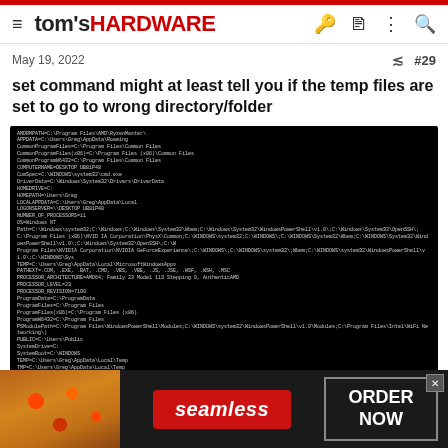tom's HARDWARE
May 19, 2022   #29
set command might at least tell you if the temp files are set to go to wrong directory/folder
[Figure (screenshot): Black terminal/command prompt window showing Windows environment variables output from a 'set' command, displaying many system paths including TEMP, TMP, ProgramFiles, SystemRoot, PROCESSOR information, and other Windows environment variables in white/grey text on black background.]
[Figure (photo): Seamless food delivery advertisement banner showing pizza on the left, Seamless logo in red in the center, and ORDER NOW button on the right, on a dark background.]